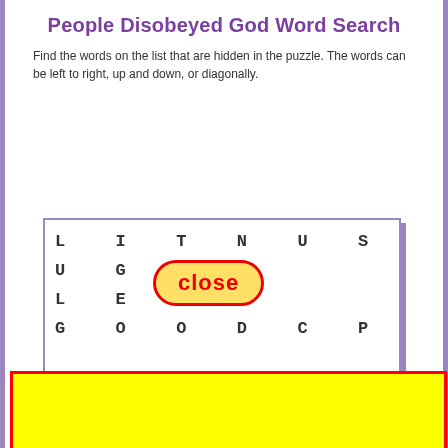People Disobeyed God Word Search
Find the words on the list that are hidden in the puzzle. The words can be left to right, up and down, or diagonally.
[Figure (other): Word search puzzle grid showing partial rows: L I T N U S L A E D E N D / U G A R [close bubble overlay] V E R I T / L E R S [close bubble] I D I T O / G O O D C P N S L O U I S, with a yellow box with red border covering the lower portion of the puzzle and page, and a 'close' button overlay in red text on yellow background.]